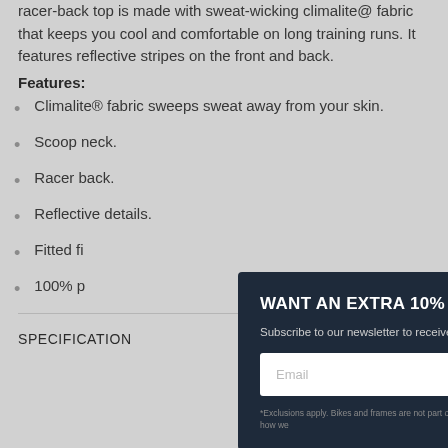racer-back top is made with sweat-wicking climalite@ fabric that keeps you cool and comfortable on long training runs. It features reflective stripes on the front and back.
Features:
Climalite® fabric sweeps sweat away from your skin.
Scoop neck.
Racer back.
Reflective details.
Fitted fi...
100% po...
WANT AN EXTRA 10% OFF? Subscribe to our newsletter to receive 10% OFF your first order. *Exclusions apply. Bikes and frames are not part of this offer. See our privacy policy for full details of how we...
SPECIFICATION